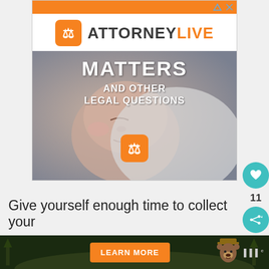[Figure (screenshot): Attorney Live advertisement banner with orange top bar, logo, and baby sleeping image with text 'MATTERS AND OTHER LEGAL QUESTIONS']
11
Give yourself enough time to collect your
[Figure (screenshot): Bottom banner advertisement with Smokey Bear and Learn More button]